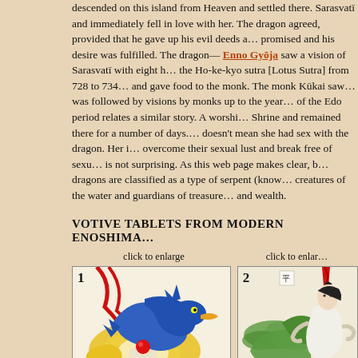descended on this island from Heaven and settled there. Sarasvatī and immediately fell in love with her. The dragon agreed, provided that he gave up his evil deeds and promised and his desire was fulfilled. The dragon— Enno Gyōja saw a vision of Sarasvatī with eight heads, the Ho-ke-kyo sutra [Lotus Sutra] from 728 to 734 and gave food to the monk. The monk Kūkai saw... was followed by visions by monks up to the year... of the Edo period relates a similar story. A worshipper came to the Shrine and remained there for a number of days. ...doesn't mean she had sex with the dragon. Her instructions were to overcome their sexual lust and break free of sexual desire... is not surprising. As this web page makes clear, Buddhist dragons are classified as a type of serpent (known as creatures of the water and guardians of treasure... and wealth.
VOTIVE TABLETS FROM MODERN ENOSHIMA
click to enlarge
[Figure (photo): Votive tablet image 1 showing a blue dragon on yellow/orange background with red ribbon and Japanese characters stamp]
[Figure (photo): Votive tablet image 2 showing a figure and dragon/serpent in green tones with red element at top]
Votive Tablet from Enoshima Island. Modern. Show...